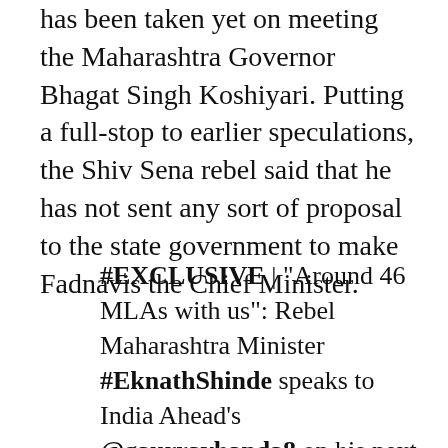has been taken yet on meeting the Maharashtra Governor Bhagat Singh Koshiyari. Putting a full-stop to earlier speculations, the Shiv Sena rebel said that he has not sent any sort of proposal to the state government to make Fadnavis the Chief Minister.
#EXCLUSIVE | "Around 46 MLAs with us": Rebel Maharashtra Minister #EknathShinde speaks to India Ahead's @gaurravhanda8 on his next move amid political crisis, adds no decision on meeting Governor yet, still deciding our next move@kittybehal10 @ShivSena @mieknathshinde pic.twitter.com/vRwY3lq3hL